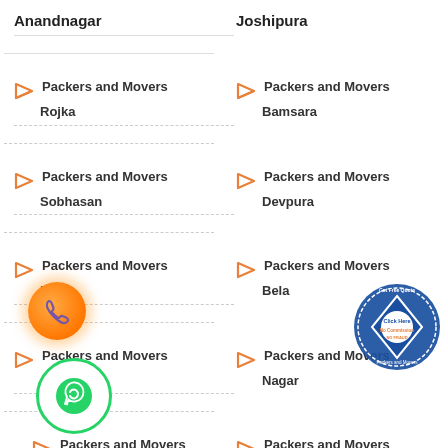Anandnagar
Joshipura
Packers and Movers Rojka
Packers and Movers Bamsara
Packers and Movers Sobhasan
Packers and Movers Devpura
Packers and Movers Zezra
Packers and Movers Bela
Packers and Movers Janiyel
Packers and Movers Nagar
Packers and Movers
Packers and Movers
[Figure (illustration): Orange phone call button icon]
[Figure (illustration): WhatsApp green phone icon]
[Figure (logo): Get Free Quote badge - No Commission, No Fraud, Only For Packers and Movers]